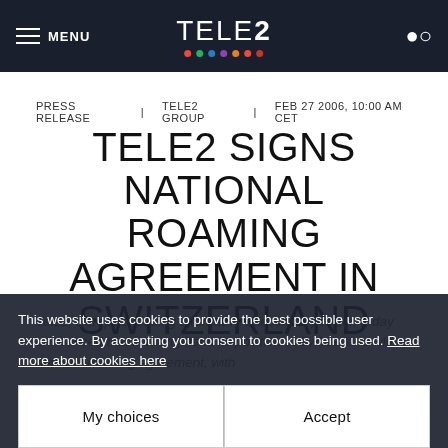MENU  TELE2  [search icon]
PRESS RELEASE   TELE2 GROUP   FEB 27 2006, 10:00 AM CET
TELE2 SIGNS NATIONAL ROAMING AGREEMENT IN SWITZERLAND
Tele2, Europe's leading alternative telecoms operator, today announced that it strengthens its position in Switzerland with a national roaming agreement, with
This website uses cookies to provide the best possible user experience. By accepting you consent to cookies being used. Read more about cookies here
My choices   Accept